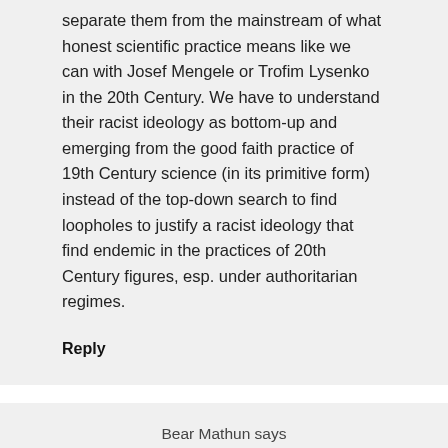separate them from the mainstream of what honest scientific practice means like we can with Josef Mengele or Trofim Lysenko in the 20th Century. We have to understand their racist ideology as bottom-up and emerging from the good faith practice of 19th Century science (in its primitive form) instead of the top-down search to find loopholes to justify a racist ideology that find endemic in the practices of 20th Century figures, esp. under authoritarian regimes.
Reply
Bear Mathun says